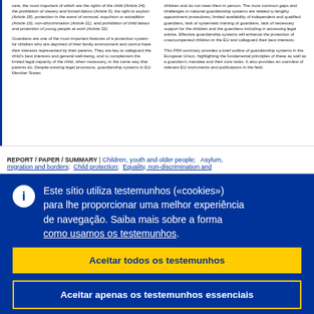care, the most important of which are the rights of the child (Article 24); the prohibition of slavery and forced labour (Article 5), the right to asylum (Article 18), protection in the event of removal, expulsion or extradition (Article 19), non-discrimination (Article 21), and prohibition of child labour and protection of young people at work (Article 32). Guardians are one of the most important features of a protection system for children who are deprived of their family environment and cannot have their interests represented by their parents. They are key to safeguard the child's best interests and general well-being, and to complement the limited legal capacity of the child, when necessary, in the same way that parents do. Despite existing legal provisions, guardianship systems in EU Member States
children and do not meet them in person. The most common gaps and challenges in national guardianship systems are related to lengthy appointment procedures, limited availability of independent and qualified guardians, lack of systematic training of guardians, lack of necessary support for the children and the guardians including in accessing legal advice. Effective guardianship systems will enhance the protection of unaccompanied children in the EU and safeguard their best interests. This FRA summary provides a brief outline of guardianship systems in the European Union, highlighting the fundamental principles of these as well as a guardian's mandate and their core tasks. It also provides an overview of relevant EU instruments and publications in the field.
REPORT / PAPER / SUMMARY | Children, youth and older people;  Asylum, migration and borders;  Child protection;  Equality, non-discrimination and…
Este sítio utiliza testemunhos («cookies») para lhe proporcionar uma melhor experiência de navegação. Saiba mais sobre a forma como usamos os testemunhos.
Aceitar todos os testemunhos
Aceitar apenas os testemunhos essenciais